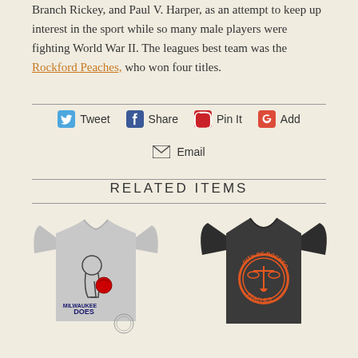Branch Rickey, and Paul V. Harper, as an attempt to keep up interest in the sport while so many male players were fighting World War II. The leagues best team was the Rockford Peaches, who won four titles.
Tweet  Share  Pin It  Add
Email
RELATED ITEMS
[Figure (photo): Gray women's t-shirt with Milwaukee Does dog mascot graphic]
[Figure (photo): Dark charcoal t-shirt with Rockford Peaches circular logo in orange and black]